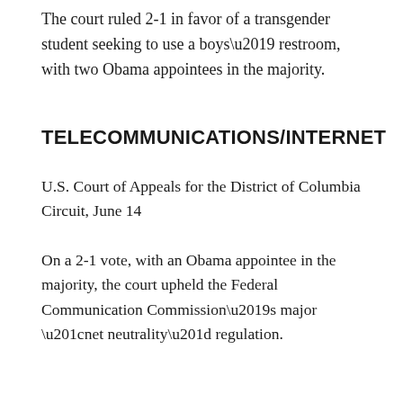The court ruled 2-1 in favor of a transgender student seeking to use a boys’ restroom, with two Obama appointees in the majority.
TELECOMMUNICATIONS/INTERNET
U.S. Court of Appeals for the District of Columbia Circuit, June 14
On a 2-1 vote, with an Obama appointee in the majority, the court upheld the Federal Communication Commission’s major “net neutrality” regulation.